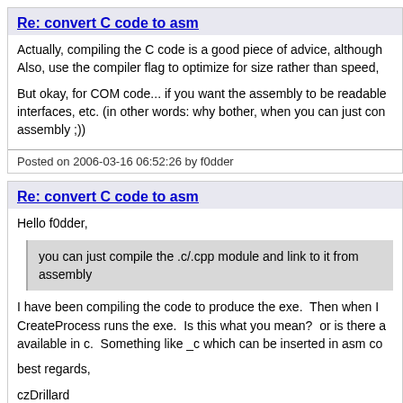Re: convert C code to asm
Actually, compiling the C code is a good piece of advice, although Also, use the compiler flag to optimize for size rather than speed,
But okay, for COM code... if you want the assembly to be readable interfaces, etc. (in other words: why bother, when you can just compile assembly ;))
Posted on 2006-03-16 06:52:26 by f0dder
Re: convert C code to asm
Hello f0dder,
you can just compile the .c/.cpp module and link to it from assembly
I have been compiling the code to produce the exe.  Then when I CreateProcess runs the exe.  Is this what you mean?  or is there a available in c.  Something like _c which can be inserted in asm co
best regards,

czDrillard
Posted on 2006-03-16 08:17:38 by czDrillard